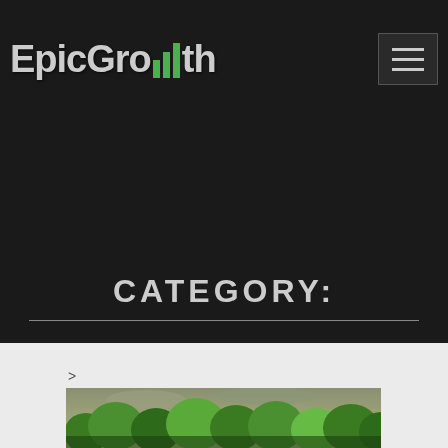EpicGrowth
CATEGORY:
>
[Figure (photo): HDR photo of green trees and foliage with a dramatic cloudy sky]